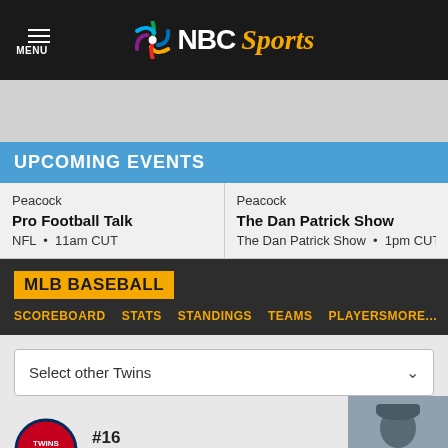NBC Sports
UPCOMING EVENTS
| Event 1 | Event 2 |
| --- | --- |
| Peacock
Pro Football Talk
NFL • 11am CUT | Peacock
The Dan Patrick Show
The Dan Patrick Show • 1pm CUT |
MLB BASEBALL
SCOREBOARD  STATS  STANDINGS  TEAMS  PLAYERS  MORE...
Select other Twins
#16
Bailey Ober